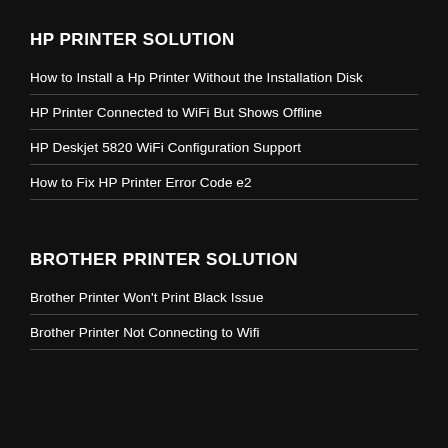HP PRINTER SOLUTION
How to Install a Hp Printer Without the Installation Disk
HP Printer Connected to WiFi But Shows Offline
HP Deskjet 5820 WiFi Configuration Support
How to Fix HP Printer Error Code e2
BROTHER PRINTER SOLUTION
Brother Printer Won't Print Black Issue
Brother Printer Not Connecting to Wifi